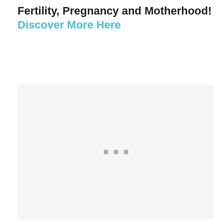Fertility, Pregnancy and Motherhood! Discover More Here
[Figure (other): Loading placeholder box with three grey dots indicating content is loading]